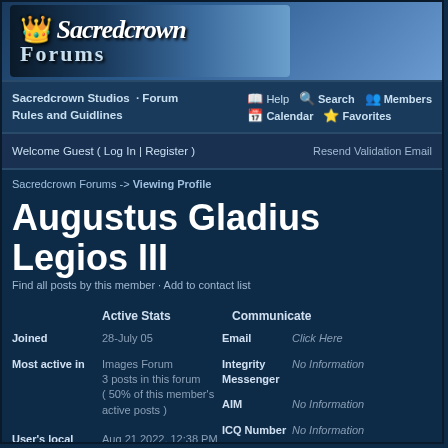[Figure (logo): Sacredcrown Forums logo banner with stylized gothic text on blue gradient background]
Sacredcrown Studios · Forum Rules and Guidlines  |  Help  Search  Members  Calendar  Favorites
Welcome Guest ( Log In | Register )  |  Resend Validation Email
Sacredcrown Forums -> Viewing Profile
Augustus Gladius Legios III
Find all posts by this member · Add to contact list
|  | Active Stats |  | Communicate |
| --- | --- | --- | --- |
| Joined | 28-July 05 | Email | Click Here |
| Most active in | Images Forum 3 posts in this forum ( 50% of this member's active posts ) | Integrity Messenger | No Information |
|  |  | AIM | No Information |
| User's local time | Aug 21 2022, 12:38 PM | ICQ Number | No Information |